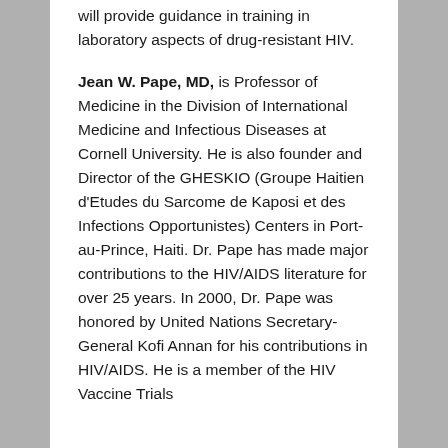Being a member of our TAG, Dr. Mellors will provide guidance in training in laboratory aspects of drug-resistant HIV.
Jean W. Pape, MD, is Professor of Medicine in the Division of International Medicine and Infectious Diseases at Cornell University. He is also founder and Director of the GHESKIO (Groupe Haitien d'Etudes du Sarcome de Kaposi et des Infections Opportunistes) Centers in Port-au-Prince, Haiti. Dr. Pape has made major contributions to the HIV/AIDS literature for over 25 years. In 2000, Dr. Pape was honored by United Nations Secretary-General Kofi Annan for his contributions in HIV/AIDS. He is a member of the HIV Vaccine Trials